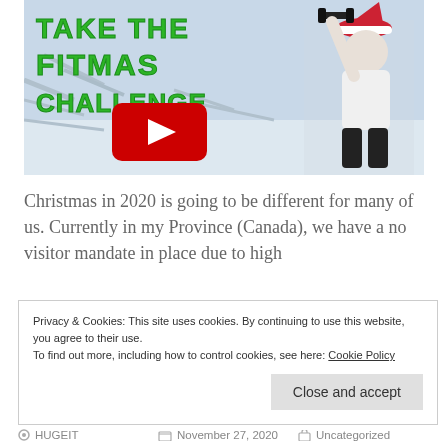[Figure (screenshot): YouTube video thumbnail showing a fitness challenge promotion titled 'TAKE THE FITMAS CHALLENGE' in green text on a snowy background, with a woman in workout clothes wearing a Santa hat holding a dumbbell, and a YouTube play button overlay.]
Christmas in 2020 is going to be different for many of us. Currently in my Province (Canada), we have a no visitor mandate in place due to high
Privacy & Cookies: This site uses cookies. By continuing to use this website, you agree to their use.
To find out more, including how to control cookies, see here: Cookie Policy
Close and accept
HUGEIT   November 27, 2020   Uncategorized